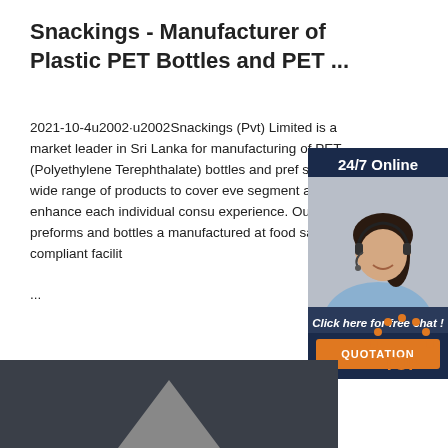Snackings - Manufacturer of Plastic PET Bottles and PET ...
2021-10-4u2002·u2002Snackings (Pvt) Limited is a market leader in Sri Lanka for manufacturing of PET (Polyethylene Terephthalate) bottles and pref supply a wide range of products to cover eve segment and enhance each individual consu experience. Our PET preforms and bottles a manufactured at food safety compliant facilit ...
[Figure (photo): Customer service representative woman with headset, 24/7 Online chat widget panel with blue/dark background and 'Click here for free chat!' text and orange QUOTATION button]
Get Price
[Figure (logo): TOP logo with orange dots arranged in triangle/arch pattern above the word TOP in orange]
[Figure (photo): Dark grey bottom strip with a light grey triangle/pyramid shape in the center]